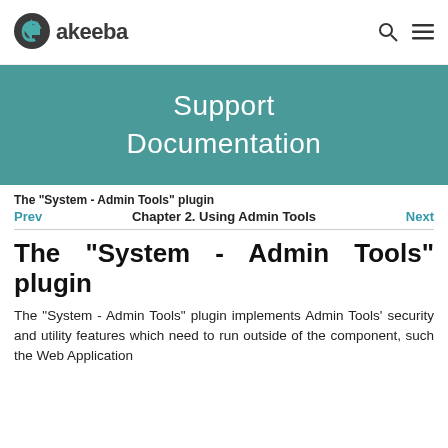Akeeba logo | search icon | menu icon
[Figure (illustration): Akeeba logo with teal arrow icon and dark gray text reading 'akeeba']
Support Documentation
The "System - Admin Tools" plugin
Prev   Chapter 2. Using Admin Tools   Next
The "System - Admin Tools" plugin
The "System - Admin Tools" plugin implements Admin Tools' security and utility features which need to run outside of the component, such the Web Application